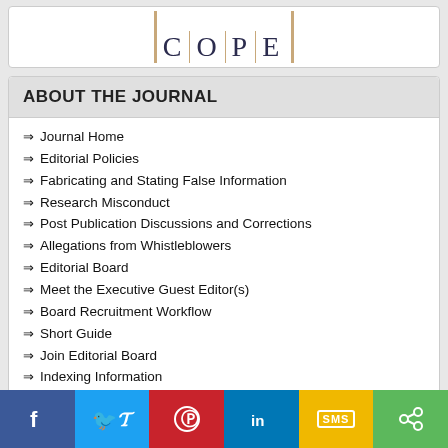[Figure (logo): COPE logo with vertical bars and large serif letters C O P E separated by gold vertical lines]
ABOUT THE JOURNAL
Journal Home
Editorial Policies
Fabricating and Stating False Information
Research Misconduct
Post Publication Discussions and Corrections
Allegations from Whistleblowers
Editorial Board
Meet the Executive Guest Editor(s)
Board Recruitment Workflow
Short Guide
Join Editorial Board
Indexing Information
Announcements
Endorsements
Authors' Comments
Special Offers
[Figure (infographic): Social sharing bar with Facebook, Twitter, Pinterest, LinkedIn, SMS, and share buttons]